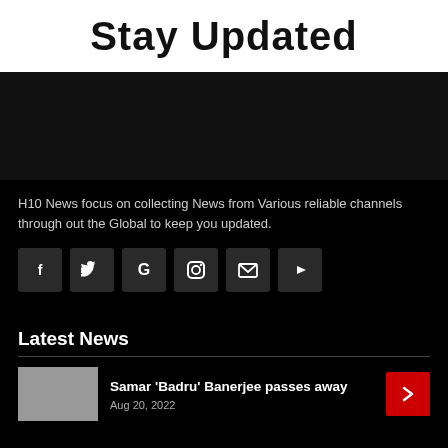Stay Updated
[Figure (illustration): Dark background section beneath the banner]
H10 News focus on collecting News from Various reliable channels through out the Global to keep you updated.
[Figure (infographic): Row of social media icon buttons: Facebook, Twitter, Google, Instagram, Email, YouTube]
Latest News
Samar 'Badru' Banerjee passes away
Aug 20, 2022